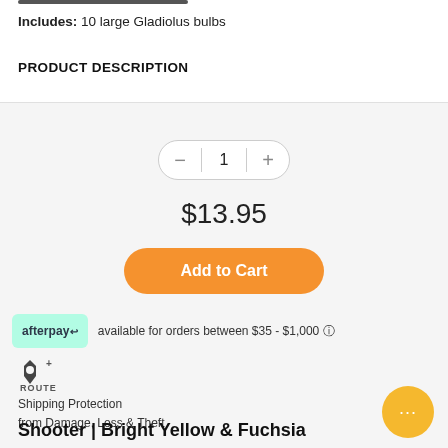Includes: 10 large Gladiolus bulbs
PRODUCT DESCRIPTION
[Figure (screenshot): E-commerce product page section showing quantity selector with minus/plus buttons showing '1', price of $13.95, orange Add to Cart button, Afterpay badge with text 'available for orders between $35 - $1,000', Route Shipping Protection logo and text 'Shipping Protection from Damage, Loss & Theft', a yellow chat bubble icon, and a partially visible section title 'Shooter | Bright Yellow & Fuchsia']